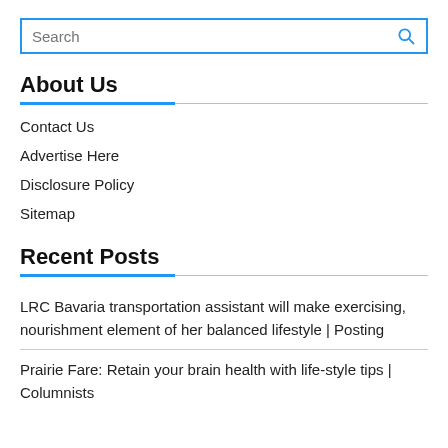[Figure (other): Search input box with blue border and blue search icon on the right]
About Us
Contact Us
Advertise Here
Disclosure Policy
Sitemap
Recent Posts
LRC Bavaria transportation assistant will make exercising, nourishment element of her balanced lifestyle | Posting
Prairie Fare: Retain your brain health with life-style tips | Columnists